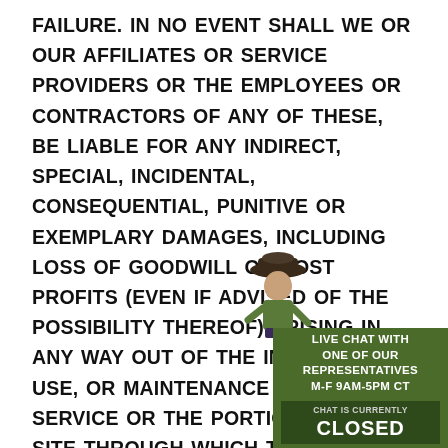FAILURE. IN NO EVENT SHALL WE OR OUR AFFILIATES OR SERVICE PROVIDERS OR THE EMPLOYEES OR CONTRACTORS OF ANY OF THESE, BE LIABLE FOR ANY INDIRECT, SPECIAL, INCIDENTAL, CONSEQUENTIAL, PUNITIVE OR EXEMPLARY DAMAGES, INCLUDING LOSS OF GOODWILL OR LOST PROFITS (EVEN IF ADVISED OF THE POSSIBILITY THEREOF) ARISING IN ANY WAY OUT OF THE INSTALLATION, USE, OR MAINTENANCE OF THE SERVICE OR THE PORTION OF THE SITE THROUGH WHICH THE SERVICE IS OFFERED, EVEN IF SUCH DAMAGES WERE REASONABLY FORESEEABLE AND NOTICE WAS GIVEN REGARDING THEM. IN NO EVENT SHALL WE OR OUR AFFILIATES OR SERVICE PROVIDERS OR THE EMPLOYEES OR CONTRACTORS OF ANY OF THESE BE LIABLE FOR ANY CLAIM ARISING FROM OR RELATED TO THE SERVICE OR THE PORTION OF
[Figure (illustration): A cartoon cowboy figure holding a green sign. The green sign reads 'LIVE CHAT WITH ONE OF OUR REPRESENTATIVES M-F 9AM-5PM CT' and below a darker green bar reads 'CHAT IS CURRENTLY CLOSED' in large white letters.]